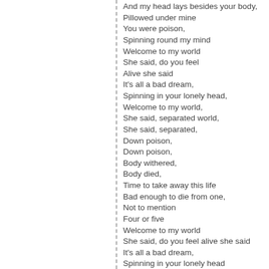And my head lays besides your body,
Pillowed under mine
You were poison,
Spinning round my mind
Welcome to my world
She said, do you feel
Alive she said
It's all a bad dream,
Spinning in your lonely head,
Welcome to my world,
She said, separated world,
She said, separated,
Down poison,
Down poison,
Body withered,
Body died,
Time to take away this life
Bad enough to die from one,
Not to mention
Four or five
Welcome to my world
She said, do you feel alive she said
It's all a bad dream,
Spinning in your lonely head
Welcome to my world she said,
Separated world,
She stayed separated
Down poison, down poison